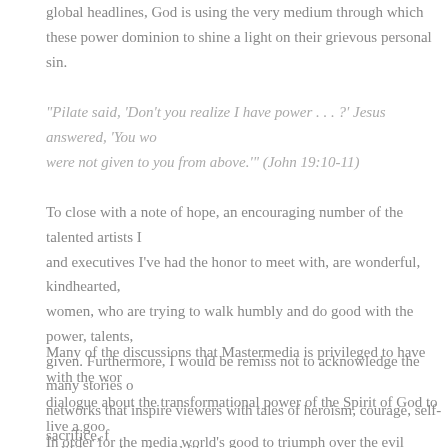global headlines, God is using the very medium through which these powers exercise their dominion to shine a light on their grievous personal sin.
“Pilate said, ‘Don’t you realize I have power . . . ?’ Jesus answered, ‘You would have no power over me if it were not given to you from above.’” (John 19:10-11)
To close with a note of hope, an encouraging number of the talented artists I’ve interviewed and executives I’ve had the honor to meet with, are wonderful, kindhearted, men and women, who are trying to walk humbly and do good with the power, talents, and resources given. Furthermore, I would be remiss not to acknowledge the many stories on many networks that inspire viewers with tales of heroism, courage, self-sacrifice, faith and good triumphing over evil.
Many of the discussions that Mastermedia is privileged to have with the world are creating a dialogue about the transformational power of the Spirit of God to live a good life and make uplifting, values-based films.
In order for the media world’s good to triumph over the evil perpetrated by a small number of individuals, God’s people must first have His people pray!